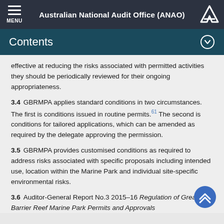Australian National Audit Office (ANAO)
Contents
effective at reducing the risks associated with permitted activities they should be periodically reviewed for their ongoing appropriateness.
3.4  GBRMPA applies standard conditions in two circumstances. The first is conditions issued in routine permits.[61] The second is conditions for tailored applications, which can be amended as required by the delegate approving the permission.
3.5  GBRMPA provides customised conditions as required to address risks associated with specific proposals including intended use, location within the Marine Park and individual site-specific environmental risks.
3.6  Auditor-General Report No.3 2015–16 Regulation of Great Barrier Reef Marine Park Permits and Approvals